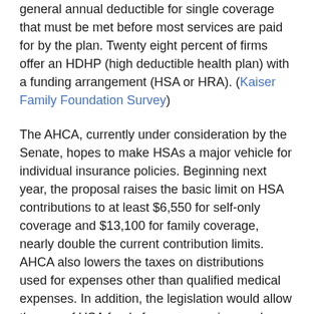general annual deductible for single coverage that must be met before most services are paid for by the plan. Twenty eight percent of firms offer an HDHP (high deductible health plan) with a funding arrangement (HSA or HRA). (Kaiser Family Foundation Survey)
The AHCA, currently under consideration by the Senate, hopes to make HSAs a major vehicle for individual insurance policies. Beginning next year, the proposal raises the basic limit on HSA contributions to at least $6,550 for self-only coverage and $13,100 for family coverage, nearly double the current contribution limits. AHCA also lowers the taxes on distributions used for expenses other than qualified medical expenses. In addition, the legislation would allow the use of HSA funds for expenses incurred before the plan was established, going back 60 days or to the HDHP enrollment date.